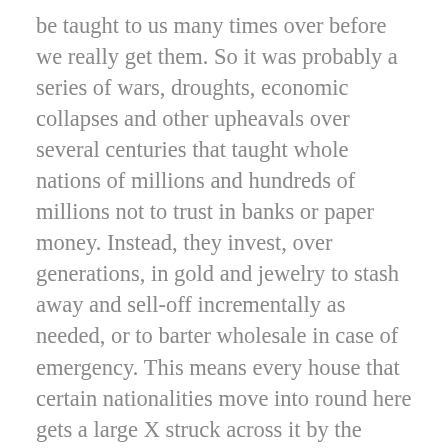be taught to us many times over before we really get them. So it was probably a series of wars, droughts, economic collapses and other upheavals over several centuries that taught whole nations of millions and hundreds of millions not to trust in banks or paper money. Instead, they invest, over generations, in gold and jewelry to stash away and sell-off incrementally as needed, or to barter wholesale in case of emergency. This means every house that certain nationalities move into round here gets a large X struck across it by the ever-alert cartographers of the local housebreaking community, who can always back up their educated guess by dialing up their insiders in the house insurance community; finding out, in return for a cut, precisely what items of value are being secreted.